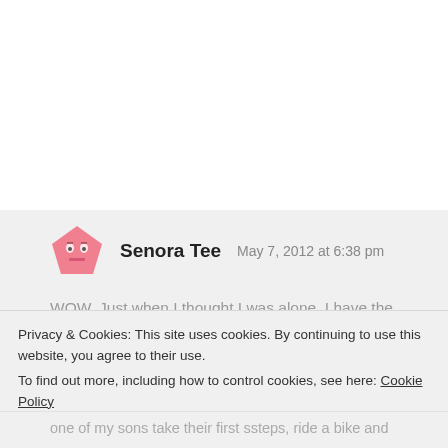Senora Tee   May 7, 2012 at 6:38 pm
WOW, Just when I thought I was alone. I have the priviledge to read this. I love teaching Spanish to my High Schoolers also. There is a certain pride I get when they are able to say their first complete sentence without a prompt. When I see that they are
Privacy & Cookies: This site uses cookies. By continuing to use this website, you agree to their use.
To find out more, including how to control cookies, see here: Cookie Policy
Close and accept
one of my sons take their first ssteps, ride a bike and